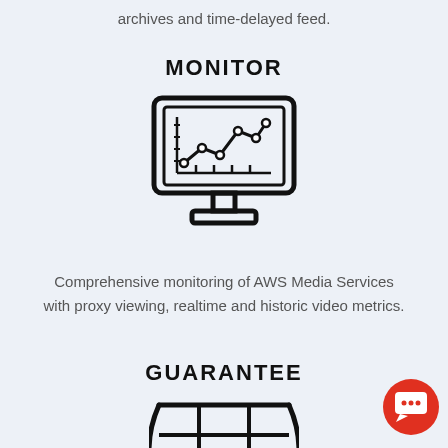archives and time-delayed feed.
MONITOR
[Figure (illustration): Monitor/screen icon showing a line graph with data points on the display screen, with a stand below it.]
Comprehensive monitoring of AWS Media Services with proxy viewing, realtime and historic video metrics.
GUARANTEE
[Figure (illustration): Grid/panel icon showing a stylized barred window or grid structure with rectangular compartments, resembling a guarantee or shield icon.]
[Figure (illustration): Red circular chat bubble button with a speech/chat icon inside.]